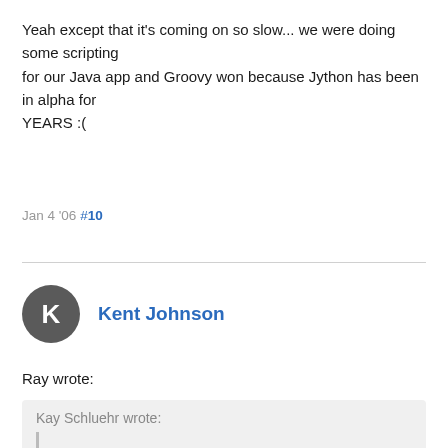Yeah except that it's coming on so slow... we were doing some scripting for our Java app and Groovy won because Jython has been in alpha for YEARS :(
Jan 4 '06 #10
Kent Johnson
Ray wrote:
Kay Schluehr wrote: